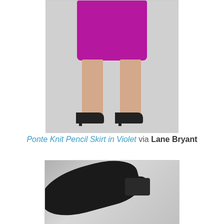[Figure (photo): Close-up photo of a person's lower body wearing a violet/magenta ponte knit pencil skirt, showing legs and black high-heel pumps against a light gray background]
Ponte Knit Pencil Skirt in Violet via Lane Bryant
[Figure (photo): Close-up photo of a black patent leather flat shoe with a bow detail, showing the interior lining and top surface of the shoe against a light background]